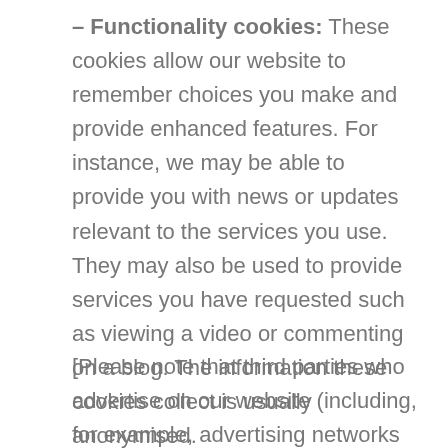– Functionality cookies: These cookies allow our website to remember choices you make and provide enhanced features. For instance, we may be able to provide you with news or updates relevant to the services you use. They may also be used to provide services you have requested such as viewing a video or commenting on a blog. The information these cookies collect is usually anonymised.
[Please note that third parties who advertise on our website (including, for example, advertising networks and providers of external services like web